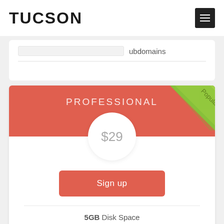TUCSON
ubdomains
PROFESSIONAL
Popular
$29
Sign up
5GB Disk Space